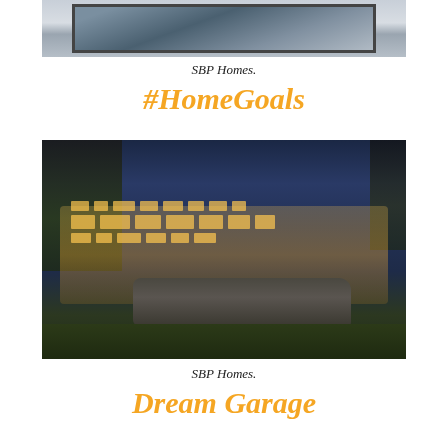[Figure (photo): Aerial or close-up view of a skylight or reflective pool/architectural feature with a dark square frame reflecting clouds and sky, set in light gray tile/stone surround]
SBP Homes.
#HomeGoals
[Figure (photo): Evening/dusk exterior photo of a large luxury home illuminated from within, with warm golden light glowing through many windows, surrounded by trees and stone landscaping, set against a deep blue twilight sky]
SBP Homes.
Dream Garage